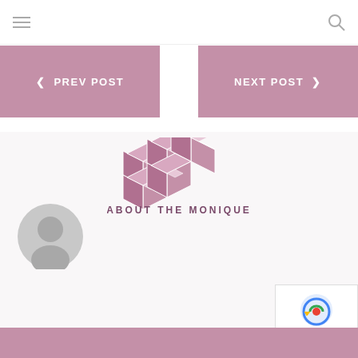< PREV POST
NEXT POST >
[Figure (logo): Isometric cube/blocks logo in mauve/pink with text ABOUT THE MONIQUE below]
[Figure (illustration): Default user avatar - grey circle with person silhouette]